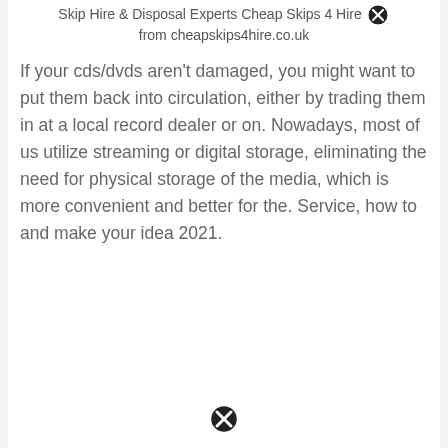Skip Hire & Disposal Experts Cheap Skips 4 Hire from cheapskips4hire.co.uk
If your cds/dvds aren't damaged, you might want to put them back into circulation, either by trading them in at a local record dealer or on. Nowadays, most of us utilize streaming or digital storage, eliminating the need for physical storage of the media, which is more convenient and better for the. Service, how to and make your idea 2021.